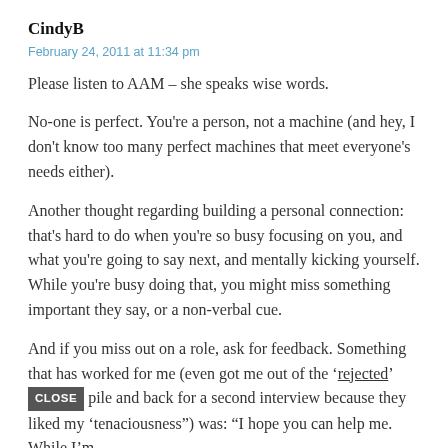CindyB
February 24, 2011 at 11:34 pm
Please listen to AAM – she speaks wise words.
No-one is perfect. You're a person, not a machine (and hey, I don't know too many perfect machines that meet everyone's needs either).
Another thought regarding building a personal connection: that's hard to do when you're so busy focusing on you, and what you're going to say next, and mentally kicking yourself. While you're busy doing that, you might miss something important they say, or a non-verbal cue.
And if you miss out on a role, ask for feedback. Something that has worked for me (even got me out of the 'rejected' pile and back for a second interview because they liked my 'tenaciousness") was: "I hope you can help me. While I'm